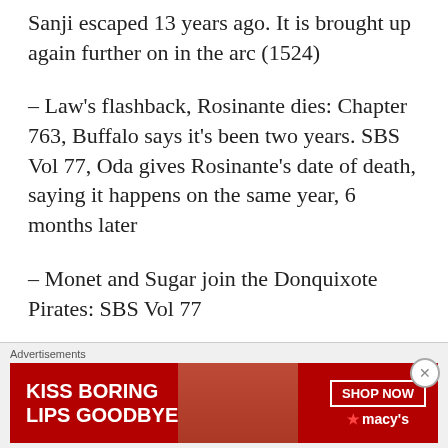Sanji escaped 13 years ago. It is brought up again further on in the arc (1524)
– Law's flashback, Rosinante dies: Chapter 763, Buffalo says it's been two years. SBS Vol 77, Oda gives Rosinante's date of death, saying it happens on the same year, 6 months later
– Monet and Sugar join the Donquixote Pirates: SBS Vol 77
[Figure (other): Advertisement banner for Macy's lipstick promotion reading 'KISS BORING LIPS GOODBYE' with SHOP NOW button and Macy's logo]